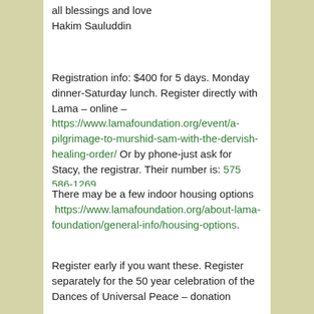all blessings and love
Hakim Sauluddin
Registration info: $400 for 5 days. Monday dinner-Saturday lunch. Register directly with Lama – online – https://www.lamafoundation.org/event/a-pilgrimage-to-murshid-sam-with-the-dervish-healing-order/ Or by phone-just ask for Stacy, the registrar. Their number is: 575 586-1269.
There may be a few indoor housing options https://www.lamafoundation.org/about-lama-foundation/general-info/housing-options.
Register early if you want these. Register separately for the 50 year celebration of the Dances of Universal Peace – donation